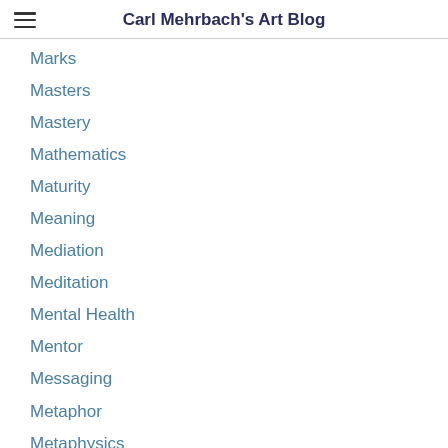Carl Mehrbach's Art Blog
Marks
Masters
Mastery
Mathematics
Maturity
Meaning
Mediation
Meditation
Mental Health
Mentor
Messaging
Metaphor
Metaphysics
Methodology
Milestone
Mimic
Mindfulness
Misconstrued